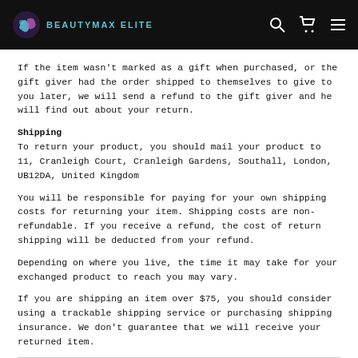BEAUTYMAX ELITE
If the item wasn't marked as a gift when purchased, or the gift giver had the order shipped to themselves to give to you later, we will send a refund to the gift giver and he will find out about your return.
Shipping
To return your product, you should mail your product to 11, Cranleigh Court, Cranleigh Gardens, Southall, London, UB12DA, United Kingdom
You will be responsible for paying for your own shipping costs for returning your item. Shipping costs are non-refundable. If you receive a refund, the cost of return shipping will be deducted from your refund.
Depending on where you live, the time it may take for your exchanged product to reach you may vary.
If you are shipping an item over $75, you should consider using a trackable shipping service or purchasing shipping insurance. We don't guarantee that we will receive your returned item.